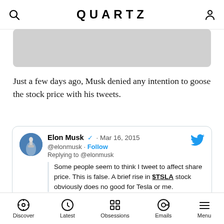QUARTZ
[Figure (photo): Gray image placeholder area]
Just a few days ago, Musk denied any intention to goose the stock price with his tweets.
[Figure (screenshot): Embedded tweet from Elon Musk (@elonmusk) dated Mar 16, 2015 replying to @elonmusk: 'Some people seem to think I tweet to affect share price. This is false. A brief rise in $TSLA stock obviously does no good for Tesla or me.']
He is right of course. But just because it’s not intentional, that doesn’t mean his tweets aren’t having an effect. Musk has tweeted about Tesla at least three
Discover  Latest  Obsessions  Emails  Menu